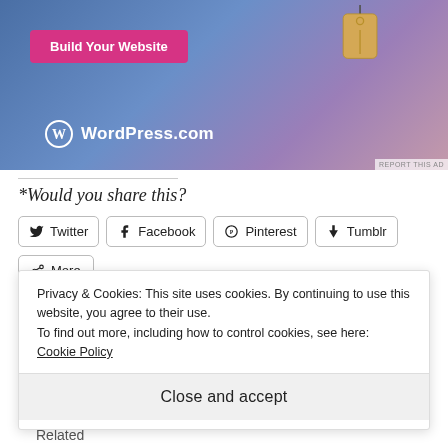[Figure (illustration): WordPress.com advertisement banner with blue-purple gradient background, a pink 'Build Your Website' button, a hanging price tag illustration, and WordPress.com logo at bottom left. 'REPORT THIS AD' text at bottom right.]
*Would you share this?
Twitter
Facebook
Pinterest
Tumblr
More
Privacy & Cookies: This site uses cookies. By continuing to use this website, you agree to their use.
To find out more, including how to control cookies, see here: Cookie Policy
Close and accept
Related